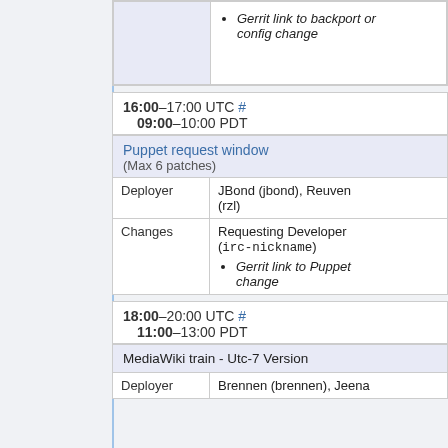|  |  |
| --- | --- |
|  | Gerrit link to backport or config change |
16:00–17:00 UTC # 09:00–10:00 PDT
| Puppet request window (Max 6 patches) |  |
| --- | --- |
| Deployer | JBond (jbond), Reuven (rzl) |
| Changes | Requesting Developer (irc-nickname)
• Gerrit link to Puppet change |
18:00–20:00 UTC # 11:00–13:00 PDT
| MediaWiki train - Utc-7 Version |
| --- |
| Deployer | Brennen (brennen), Jeena |